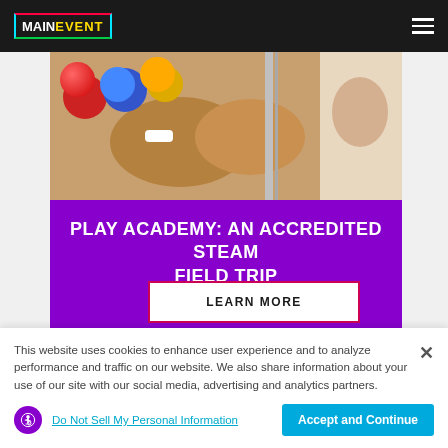Main Event — Navigation bar with logo and hamburger menu
[Figure (photo): Close-up photo of hands with wristbands, bowling balls in background]
PLAY ACADEMY: AN ACCREDITED STEAM FIELD TRIP
LEARN MORE
This website uses cookies to enhance user experience and to analyze performance and traffic on our website. We also share information about your use of our site with our social media, advertising and analytics partners.
Do Not Sell My Personal Information
Accept and Continue